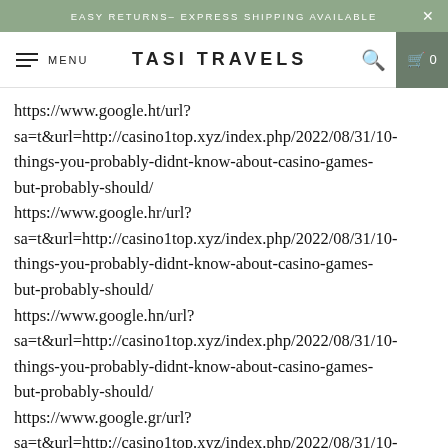EASY RETURNS– EXPRESS SHIPPING AVAILABLE ×
MENU  TASI TRAVELS  🔍  🛒 0
https://www.google.ht/url?sa=t&url=http://casino1top.xyz/index.php/2022/08/31/10-things-you-probably-didnt-know-about-casino-games-but-probably-should/
https://www.google.hr/url?sa=t&url=http://casino1top.xyz/index.php/2022/08/31/10-things-you-probably-didnt-know-about-casino-games-but-probably-should/
https://www.google.hn/url?sa=t&url=http://casino1top.xyz/index.php/2022/08/31/10-things-you-probably-didnt-know-about-casino-games-but-probably-should/
https://www.google.gr/url?sa=t&url=http://casino1top.xyz/index.php/2022/08/31/10-things-you-probably-didnt-know-about-casino-games-but-probably-should/